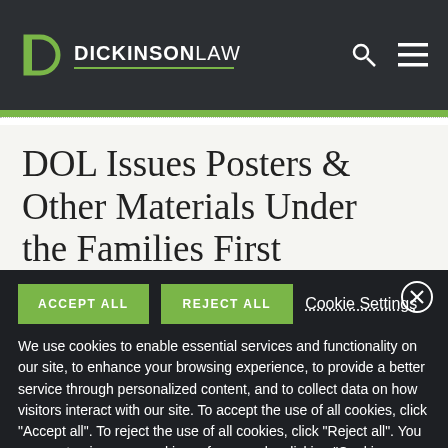DICKINSONLAW
DOL Issues Posters & Other Materials Under the Families First
We use cookies to enable essential services and functionality on our site, to enhance your browsing experience, to provide a better service through personalized content, and to collect data on how visitors interact with our site. To accept the use of all cookies, click "Accept all". To reject the use of all cookies, click "Reject all". You can customize your cookie preferences by clicking "Cookie Settings". For more information about our use of cookies and to opt-out of cookies at any time, please refer to our website Privacy Policy.